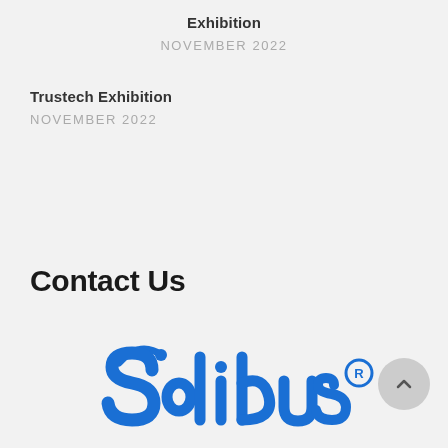Exhibition
NOVEMBER 2022
Trustech Exhibition
NOVEMBER 2022
Contact Us
[Figure (logo): Solidus logo in blue with registered trademark symbol, and a circular scroll-to-top button]